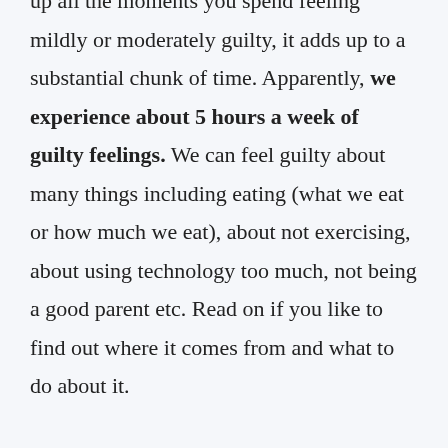up all the moments you spend feeling mildly or moderately guilty, it adds up to a substantial chunk of time. Apparently, we experience about 5 hours a week of guilty feelings. We can feel guilty about many things including eating (what we eat or how much we eat), about not exercising, about using technology too much, not being a good parent etc. Read on if you like to find out where it comes from and what to do about it.